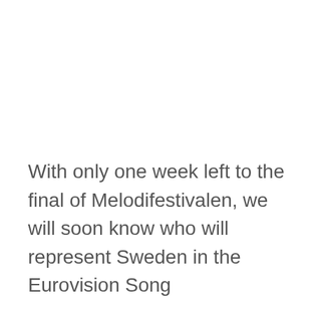With only one week left to the final of Melodifestivalen, we will soon know who will represent Sweden in the Eurovision Song